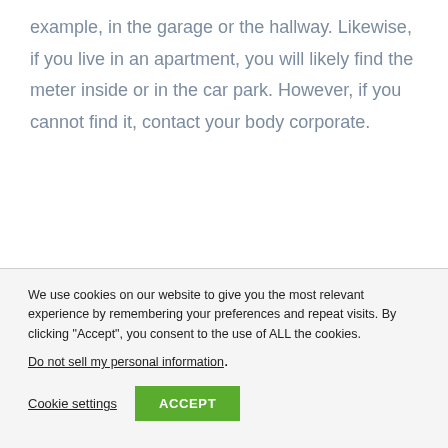example, in the garage or the hallway. Likewise, if you live in an apartment, you will likely find the meter inside or in the car park. However, if you cannot find it, contact your body corporate.
We use cookies on our website to give you the most relevant experience by remembering your preferences and repeat visits. By clicking "Accept", you consent to the use of ALL the cookies. Do not sell my personal information.
Cookie settings | ACCEPT